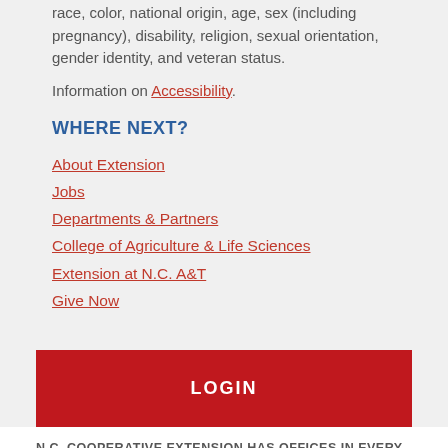race, color, national origin, age, sex (including pregnancy), disability, religion, sexual orientation, gender identity, and veteran status.
Information on Accessibility.
WHERE NEXT?
About Extension
Jobs
Departments & Partners
College of Agriculture & Life Sciences
Extension at N.C. A&T
Give Now
LOGIN
N.C. COOPERATIVE EXTENSION HAS OFFICES IN EVERY